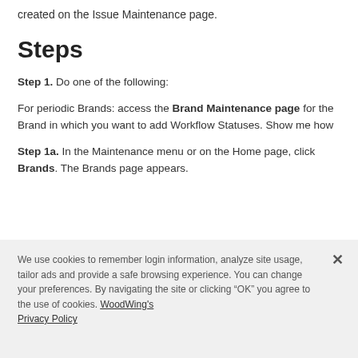created on the Issue Maintenance page.
Steps
Step 1. Do one of the following:
For periodic Brands: access the Brand Maintenance page for the Brand in which you want to add Workflow Statuses. Show me how
Step 1a. In the Maintenance menu or on the Home page, click Brands. The Brands page appears.
We use cookies to remember login information, analyze site usage, tailor ads and provide a safe browsing experience. You can change your preferences. By navigating the site or clicking “OK” you agree to the use of cookies. WoodWing's Privacy Policy